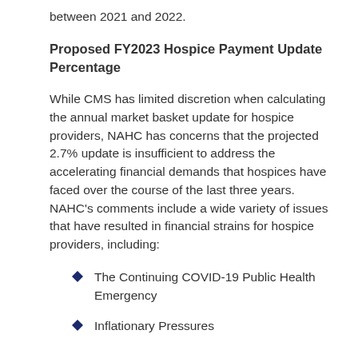between 2021 and 2022.
Proposed FY2023 Hospice Payment Update Percentage
While CMS has limited discretion when calculating the annual market basket update for hospice providers, NAHC has concerns that the projected 2.7% update is insufficient to address the accelerating financial demands that hospices have faced over the course of the last three years. NAHC's comments include a wide variety of issues that have resulted in financial strains for hospice providers, including:
The Continuing COVID-19 Public Health Emergency
Inflationary Pressures